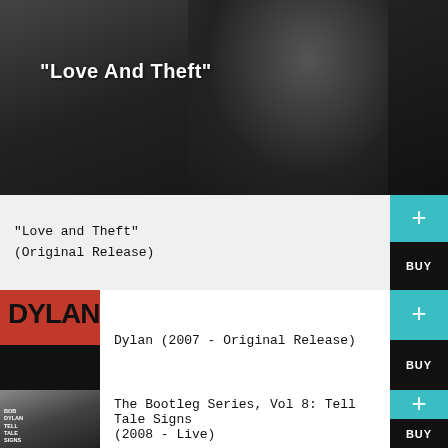[Figure (photo): Black and white photo of Bob Dylan with text overlay '"Love And Theft"' in white serif font]
“Love and Theft”
(Original Release)
Dylan (2007 - Original Release)
[Figure (photo): Album cover for Dylan with red background and bold black DYLAN text]
The Bootleg Series, Vol 8: Tell Tale Signs
(2008 - Live)
[Figure (photo): Album cover for Bob Dylan Tell Tale Signs bootleg series]